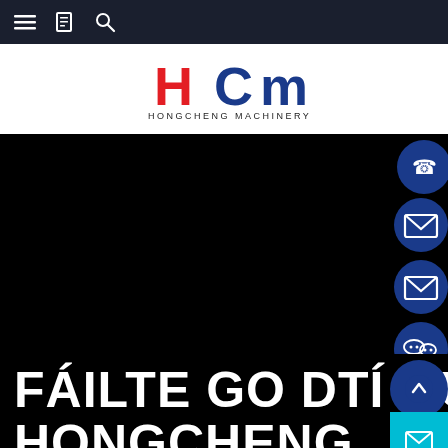Navigation bar with menu, book, and search icons
[Figure (logo): HCM Hongcheng Machinery logo with red H, blue C and M letters and text HONGCHENG MACHINERY below]
[Figure (photo): Dark/black hero image with side contact icons (phone, email, email, WeChat, scroll-up) in blue circles on the right side]
FÁILTE GO DTÍ GUILI... HONGCHENG